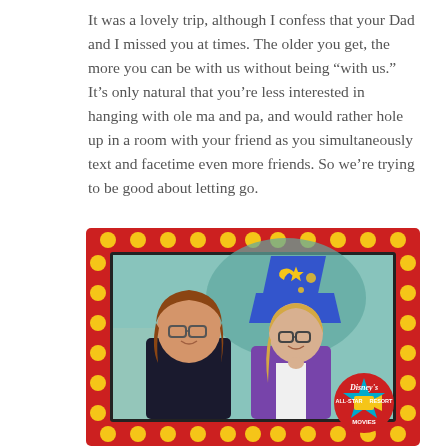It was a lovely trip, although I confess that your Dad and I missed you at times. The older you get, the more you can be with us without being “with us.” It’s only natural that you’re less interested in hanging with ole ma and pa, and would rather hole up in a room with your friend as you simultaneously text and facetime even more friends. So we’re trying to be good about letting go.
[Figure (photo): Two people (an adult woman with brown hair and glasses wearing a dark top, and a young girl with blonde hair and glasses wearing a purple jacket) posing in front of a colorful Disney-themed backdrop with a Sorcerer's hat prop, framed by a red Disney's All-Star Movies Resort decorative frame with yellow polka dots.]